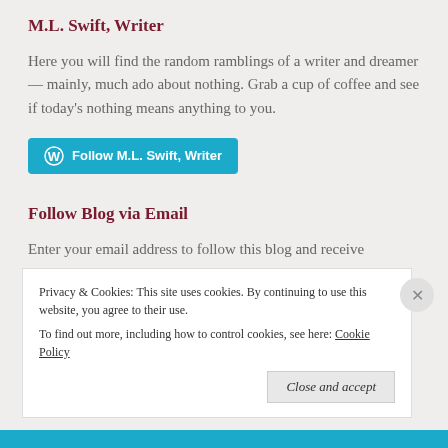M.L. Swift, Writer
Here you will find the random ramblings of a writer and dreamer — mainly, much ado about nothing. Grab a cup of coffee and see if today's nothing means anything to you.
[Figure (other): Blue WordPress follow button reading 'Follow M.L. Swift, Writer' with WordPress logo icon]
Follow Blog via Email
Enter your email address to follow this blog and receive
Privacy & Cookies: This site uses cookies. By continuing to use this website, you agree to their use. To find out more, including how to control cookies, see here: Cookie Policy
Close and accept